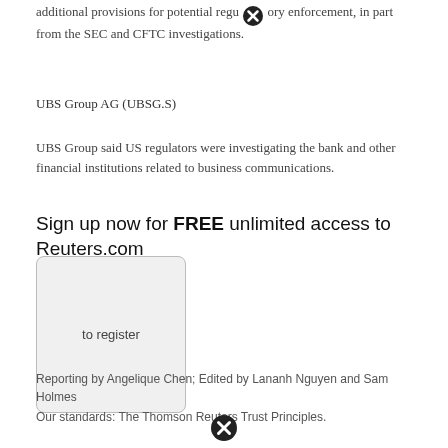additional provisions for potential regulatory enforcement, in part from the SEC and CFTC investigations.
UBS Group AG (UBSG.S)
UBS Group said US regulators were investigating the bank and other financial institutions related to business communications.
Sign up now for FREE unlimited access to Reuters.com
[Figure (other): Button/widget labeled 'to register']
Reporting by Angelique Chen; Edited by Lananh Nguyen and Sam Holmes
Our standards: The Thomson Reuters Trust Principles.
[Figure (other): Close/dismiss icon at bottom of page]